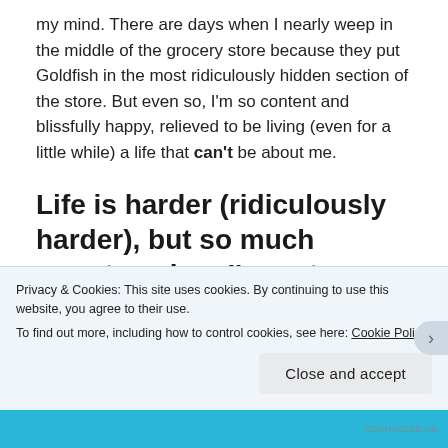my mind. There are days when I nearly weep in the middle of the grocery store because they put Goldfish in the most ridiculously hidden section of the store. But even so, I'm so content and blissfully happy, relieved to be living (even for a little while) a life that can't be about me.
Life is harder (ridiculously harder), but so much sweeter when I'm not my first priority.
Privacy & Cookies: This site uses cookies. By continuing to use this website, you agree to their use.
To find out more, including how to control cookies, see here: Cookie Policy